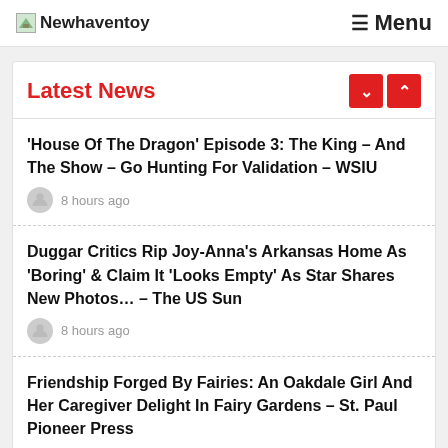Newhaventoy  Menu
Latest News
'House Of The Dragon' Episode 3: The King – And The Show – Go Hunting For Validation – WSIU
8 hours ago
Duggar Critics Rip Joy-Anna's Arkansas Home As 'Boring' & Claim It 'Looks Empty' As Star Shares New Photos… – The US Sun
8 hours ago
Friendship Forged By Fairies: An Oakdale Girl And Her Caregiver Delight In Fairy Gardens – St. Paul Pioneer Press